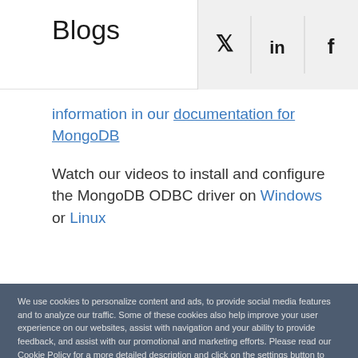Blogs
information in our documentation for MongoDB
Watch our videos to install and configure the MongoDB ODBC driver on Windows or Linux
We use cookies to personalize content and ads, to provide social media features and to analyze our traffic. Some of these cookies also help improve your user experience on our websites, assist with navigation and your ability to provide feedback, and assist with our promotional and marketing efforts. Please read our Cookie Policy for a more detailed description and click on the settings button to customize how the site uses cookies for you.
ACCEPT COOKIES
COOKIES SETTINGS